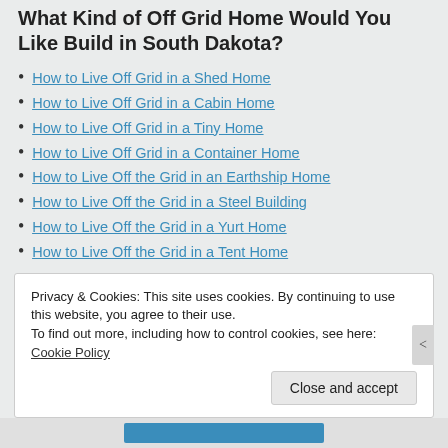What Kind of Off Grid Home Would You Like Build in South Dakota?
How to Live Off Grid in a Shed Home
How to Live Off Grid in a Cabin Home
How to Live Off Grid in a Tiny Home
How to Live Off Grid in a Container Home
How to Live Off the Grid in an Earthship Home
How to Live Off the Grid in a Steel Building
How to Live Off the Grid in a Yurt Home
How to Live Off the Grid in a Tent Home
How Much Solar Will You Need for Electricity in South
Privacy & Cookies: This site uses cookies. By continuing to use this website, you agree to their use.
To find out more, including how to control cookies, see here: Cookie Policy
Close and accept